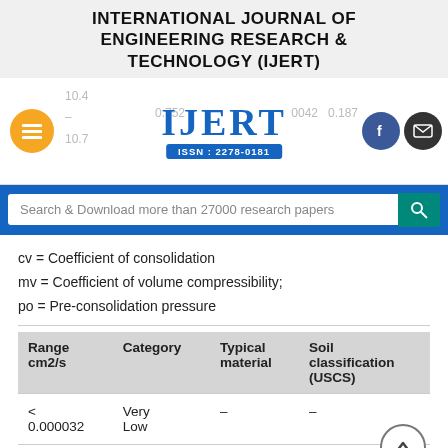INTERNATIONAL JOURNAL OF ENGINEERING RESEARCH & TECHNOLOGY (IJERT)
[Figure (logo): IJERT logo with ISSN: 2278-0181, hamburger menu button, Facebook and email social buttons, and partial table data numbers in background]
[Figure (screenshot): Search bar with text: Search & Download more than 27000 research papers]
cv = Coefficient of consolidation
mv = Coefficient of volume compressibility;
po = Pre-consolidation pressure
| Range cm2/s | Category | Typical material | Soil classification (USCS) |
| --- | --- | --- | --- |
| < 0.000032 | Very Low | – | – |
|  |  |  | Medium |